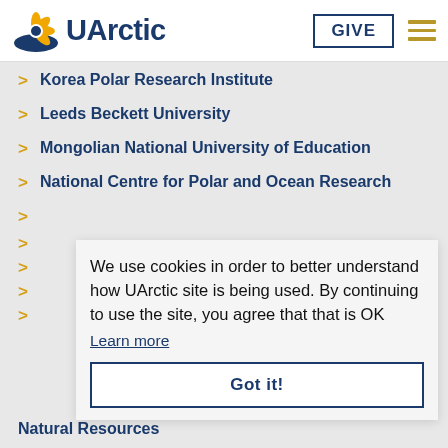UArctic
Korea Polar Research Institute
Leeds Beckett University
Mongolian National University of Education
National Centre for Polar and Ocean Research
We use cookies in order to better understand how UArctic site is being used. By continuing to use the site, you agree that that is OK
Learn more
Got it!
Natural Resources